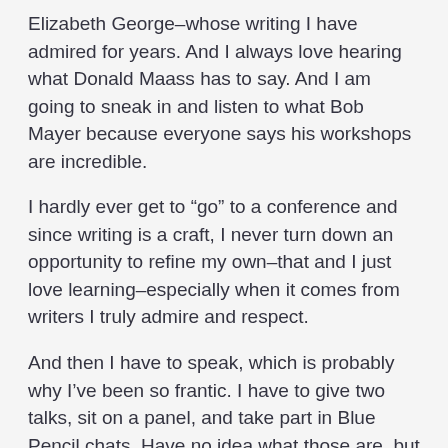Elizabeth George–whose writing I have admired for years. And I always love hearing what Donald Maass has to say. And I am going to sneak in and listen to what Bob Mayer because everyone says his workshops are incredible.
I hardly ever get to “go” to a conference and since writing is a craft, I never turn down an opportunity to refine my own–that and I just love learning–especially when it comes from writers I truly admire and respect.
And then I have to speak, which is probably why I’ve been so frantic. I have to give two talks, sit on a panel, and take part in Blue Pencil chats. Have no idea what those are, but as long as we don’t have to pick sides and use hockey sticks, I’m game!
Will try to post pics over on Facebook and will be making reports all weekend long via Twitter. ‘Cause I am totally